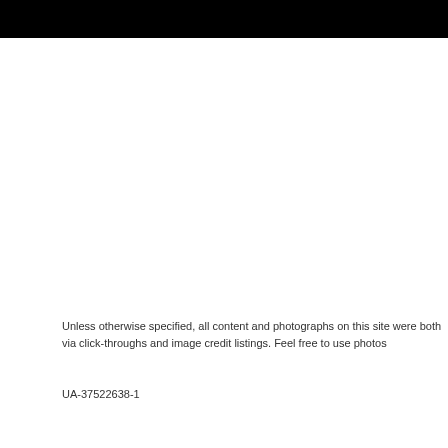[Figure (other): Black header bar at top of page]
Unless otherwise specified, all content and photographs on this site were both via click-throughs and image credit listings. Feel free to use photos
UA-37522638-1